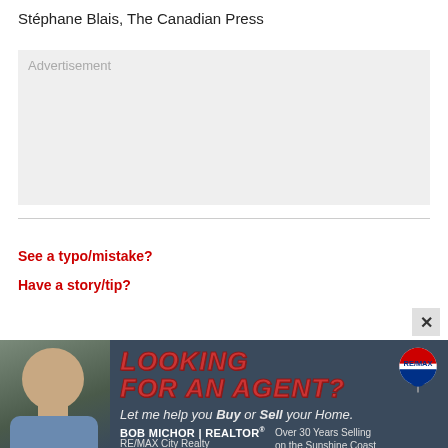Stéphane Blais, The Canadian Press
[Figure (other): Advertisement placeholder box with light grey background and 'Advertisement' label]
See a typo/mistake?
Have a story/tip?
[Figure (other): RE/MAX real estate advertisement banner featuring Bob Michor, Realtor. Shows photo of older man, text 'LOOKING FOR AN AGENT?', 'Let me help you Buy or Sell your Home.', 'BOB MICHOR | REALTOR®', 'RE/MAX City Realty', '604 740 4735', 'Over 30 Years Selling on the Sunshine Coast', RE/MAX balloon logo.]